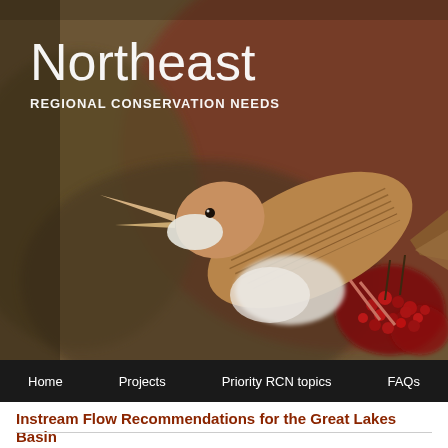[Figure (photo): Close-up photograph of a small bird (wren-like) perched on red berries, with beak open, against a blurred warm brown and red background. The bird has brown/tan streaked plumage and white underparts.]
Northeast
REGIONAL CONSERVATION NEEDS
Home    Projects    Priority RCN topics    FAQs
Instream Flow Recommendations for the Great Lakes Basin